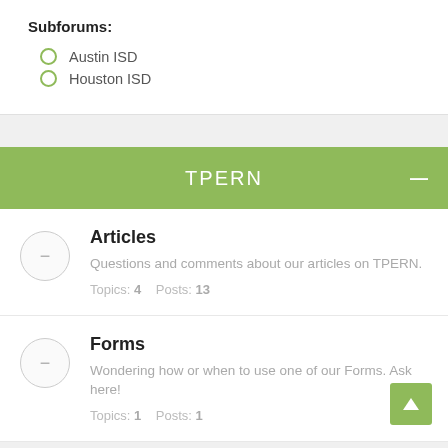Subforums:
Austin ISD
Houston ISD
TPERN
Articles
Questions and comments about our articles on TPERN.
Topics: 4     Posts: 13
Forms
Wondering how or when to use one of our Forms. Ask here!
Topics: 1     Posts: 1